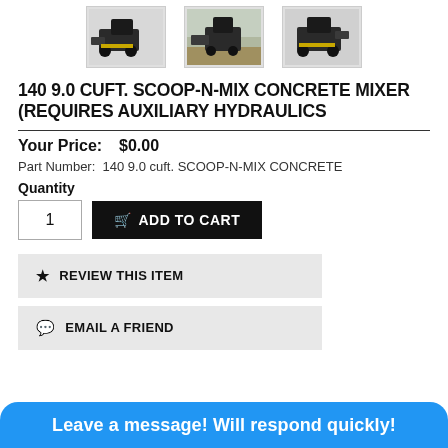[Figure (photo): Three thumbnail images of a skid steer concrete mixer attachment from different angles]
140 9.0 CUFT. SCOOP-N-MIX CONCRETE MIXER (REQUIRES AUXILIARY HYDRAULICS
Your Price: $0.00
Part Number: 140 9.0 cuft. SCOOP-N-MIX CONCRETE
Quantity
1 ADD TO CART
★ REVIEW THIS ITEM
● EMAIL A FRIEND
Leave a message! Will respond quickly!